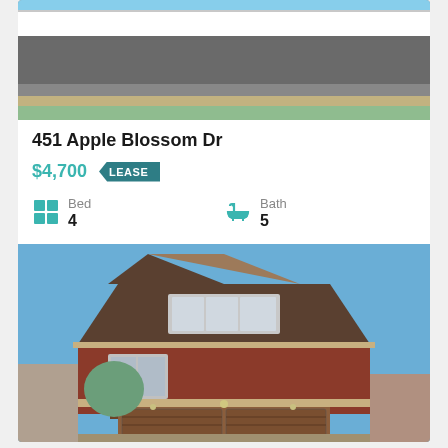[Figure (photo): Exterior photo of a residential property showing a driveway and garage]
451 Apple Blossom Dr
$4,700  LEASE
Bed 4
Bath 5
[Figure (photo): Exterior photo of a two-storey brick house with double garage and blue sky]